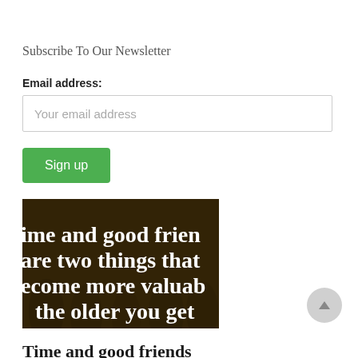Subscribe To Our Newsletter
Email address:
Your email address
Sign up
[Figure (photo): Dark brownish photo with bold white text overlay reading: 'ime and good frien are two things that ecome more valuab the older you get' (text is cropped on the right side)]
Time and good friends